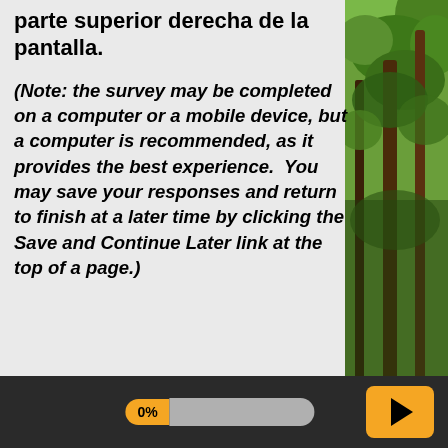parte superior derecha de la pantalla.
(Note: the survey may be completed on a computer or a mobile device, but a computer is recommended, as it provides the best experience.  You may save your responses and return to finish at a later time by clicking the Save and Continue Later link at the top of a page.)
[Figure (photo): Forest scene with tall trees and green foliage on the right side of the page]